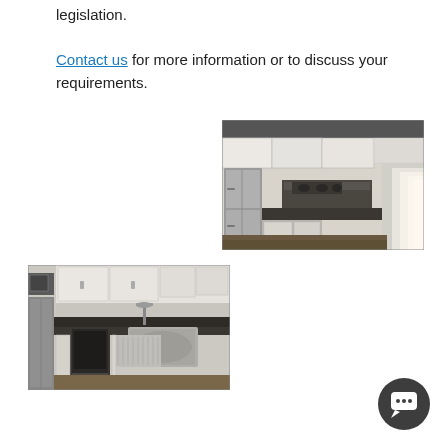legislation. Contact us for more information or to discuss your requirements.
[Figure (photo): Interior kitchen photo showing white cabinets, stainless steel refrigerator, dark countertops, and a hallway with bright light at the end.]
[Figure (photo): Close-up kitchen photo showing dark countertop with sink, tap, oven, white cabinets, and stainless steel refrigerator on the left.]
[Figure (other): Dark circular chat button icon in bottom right corner.]